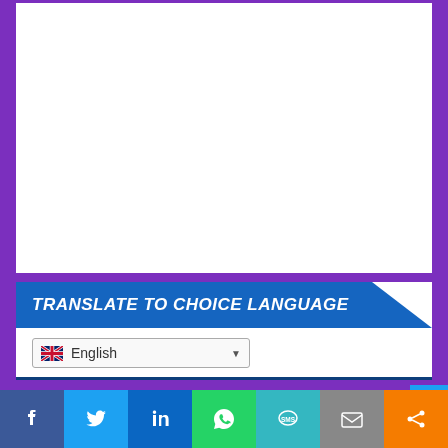[Figure (other): White content area with purple border background]
TRANSLATE TO CHOICE LANGUAGE
[Figure (screenshot): Language dropdown selector showing English with UK flag]
[Figure (infographic): Social media sharing bar with icons: Facebook, Twitter, LinkedIn, WhatsApp, SMS, Email, Share]